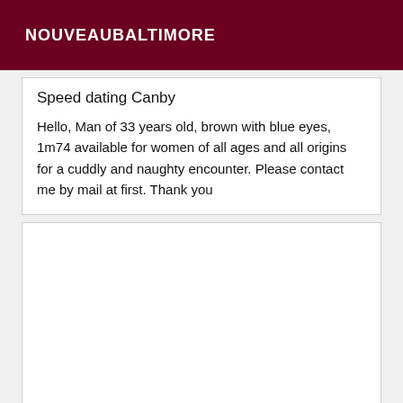NOUVEAUBALTIMORE
Speed dating Canby
Hello, Man of 33 years old, brown with blue eyes, 1m74 available for women of all ages and all origins for a cuddly and naughty encounter. Please contact me by mail at first. Thank you